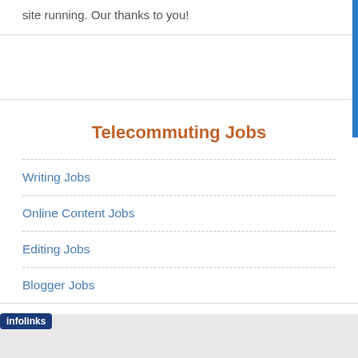site running. Our thanks to you!
Telecommuting Jobs
Writing Jobs
Online Content Jobs
Editing Jobs
Blogger Jobs
hing Jobs
[Figure (screenshot): BitLife advertisement banner with FAIL text, emoji characters, fire, and 'START A NEW LIFE' slogan on red background]